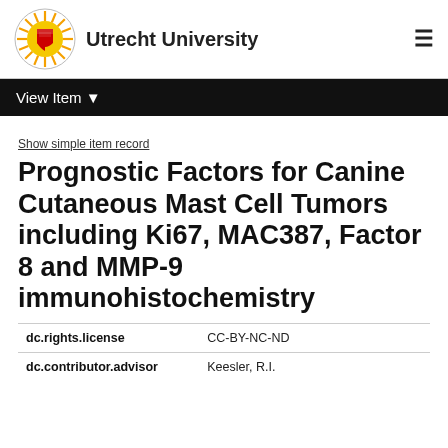Utrecht University
View Item
Show simple item record
Prognostic Factors for Canine Cutaneous Mast Cell Tumors including Ki67, MAC387, Factor 8 and MMP-9 immunohistochemistry
| Field | Value |
| --- | --- |
| dc.rights.license | CC-BY-NC-ND |
| dc.contributor.advisor | Keesler, R.I. |